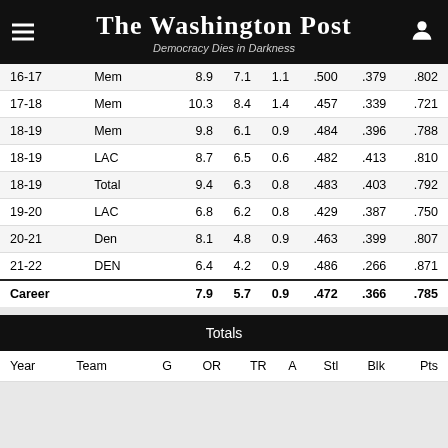The Washington Post — Democracy Dies in Darkness
| Year | Team |  |  |  |  |  |  |
| --- | --- | --- | --- | --- | --- | --- | --- |
| 16-17 | Mem | 8.9 | 7.1 | 1.1 | .500 | .379 | .802 |
| 17-18 | Mem | 10.3 | 8.4 | 1.4 | .457 | .339 | .721 |
| 18-19 | Mem | 9.8 | 6.1 | 0.9 | .484 | .396 | .788 |
| 18-19 | LAC | 8.7 | 6.5 | 0.6 | .482 | .413 | .810 |
| 18-19 | Total | 9.4 | 6.3 | 0.8 | .483 | .403 | .792 |
| 19-20 | LAC | 6.8 | 6.2 | 0.8 | .429 | .387 | .750 |
| 20-21 | Den | 8.1 | 4.8 | 0.9 | .463 | .399 | .807 |
| 21-22 | DEN | 6.4 | 4.2 | 0.9 | .486 | .266 | .871 |
| Career |  | 7.9 | 5.7 | 0.9 | .472 | .366 | .785 |
Totals
| Year | Team | G | OR | TR | A | Stl | Blk | Pts |
| --- | --- | --- | --- | --- | --- | --- | --- | --- |